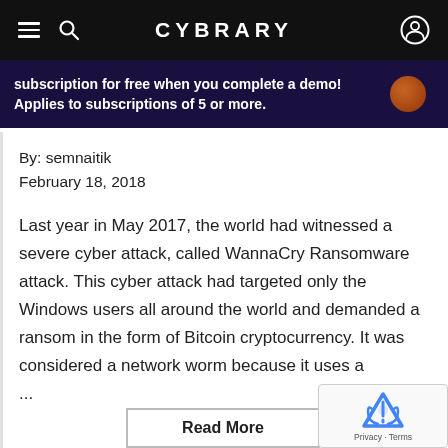CYBRARY
subscription for free when you complete a demo! Applies to subscriptions of 5 or more.
By: semnaitik
February 18, 2018
Last year in May 2017, the world had witnessed a severe cyber attack, called WannaCry Ransomware attack. This cyber attack had targeted only the Windows users all around the world and demanded a ransom in the form of Bitcoin cryptocurrency. It was considered a network worm because it uses a ...